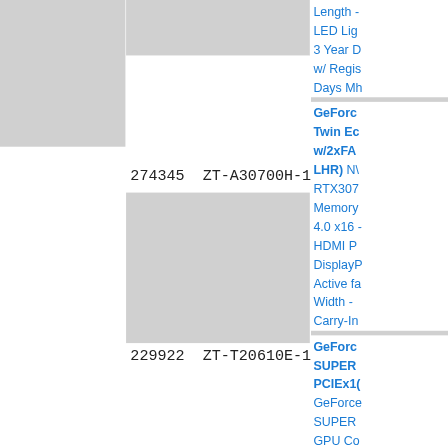[Figure (photo): Gray placeholder image for first GPU product (top section)]
274345  ZT-A30700H-10PLHR
Length - LED Lighting - 3 Year D w/ Regis Days Mh
[Figure (photo): Gray placeholder image for second GPU product (bottom section)]
229922  ZT-T20610E-10M
GeForce Twin Ec w/2xFA LHR) NY RTX307 Memory 4.0 x16 HDMI P DisplayP Active fa Width - Carry-In
GeForce SUPER PCIEx1C GeForce SUPER GPU Co 1650MH Clock - Cores - Memory Memory 448.0GB Bandwic Express